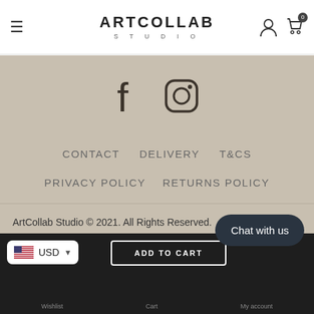ARTCOLLAB STUDIO
[Figure (logo): Social media icons: Facebook and Instagram]
CONTACT   DELIVERY   T&Cs
PRIVACY POLICY   RETURNS POLICY
ArtCollab Studio © 2021. All Rights Reserved.
Chat with us
USD
ADD TO CART